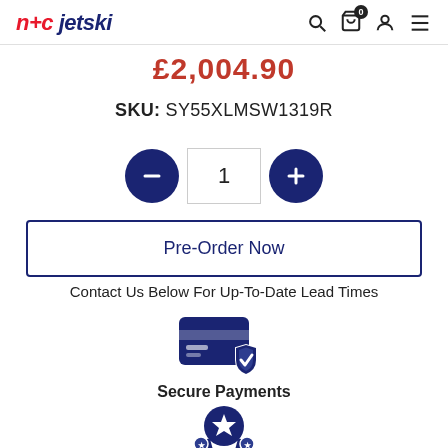n+c jetski
£2,004.90
SKU:  SY55XLMSW1319R
[Figure (other): Quantity selector with minus button (dark navy circle), input showing 1, and plus button (dark navy circle)]
Pre-Order Now
Contact Us Below For Up-To-Date Lead Times
[Figure (other): Secure payments icon: credit card with shield and checkmark, dark navy color]
Secure Payments
[Figure (other): Award/quality badge icon with star and ribbons, dark navy color]